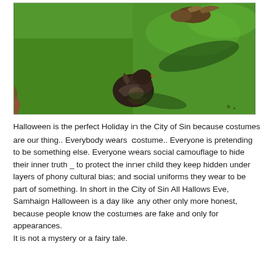[Figure (photo): Two ducks or dark birds on bright green grass in sunlight, casting shadows. One bird is partially visible at the top, another is in the foreground center on the grass.]
Halloween is the perfect Holiday in the City of Sin because costumes are our thing.. Everybody wears  costume.. Everyone is pretending to be something else. Everyone wears social camouflage to hide their inner truth _ to protect the inner child they keep hidden under layers of phony cultural bias; and social uniforms they wear to be part of something. In short in the City of Sin All Hallows Eve, Samhaign Halloween is a day like any other only more honest, because people know the costumes are fake and only for appearances.
It is not a mystery or a fairy tale.